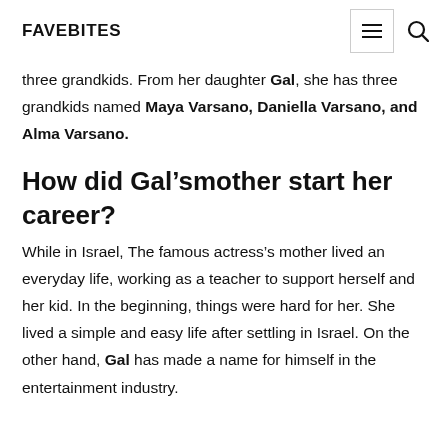FAVEBITES
three grandkids. From her daughter Gal, she has three grandkids named Maya Varsano, Daniella Varsano, and Alma Varsano.
How did Gal’smother start her career?
While in Israel, The famous actress’s mother lived an everyday life, working as a teacher to support herself and her kid. In the beginning, things were hard for her. She lived a simple and easy life after settling in Israel. On the other hand, Gal has made a name for himself in the entertainment industry.